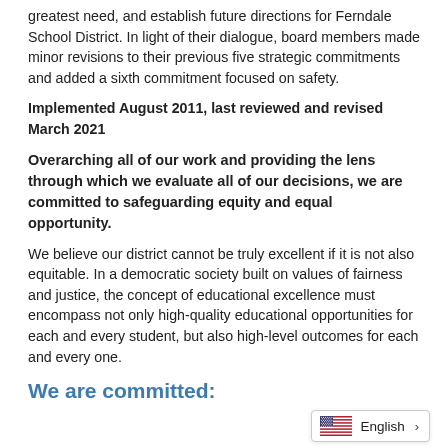greatest need, and establish future directions for Ferndale School District. In light of their dialogue, board members made minor revisions to their previous five strategic commitments and added a sixth commitment focused on safety.
Implemented August 2011, last reviewed and revised March 2021
Overarching all of our work and providing the lens through which we evaluate all of our decisions, we are committed to safeguarding equity and equal opportunity.
We believe our district cannot be truly excellent if it is not also equitable. In a democratic society built on values of fairness and justice, the concept of educational excellence must encompass not only high-quality educational opportunities for each and every student, but also high-level outcomes for each and every one.
We are committed:
[Figure (other): Language selector widget showing US flag and 'English' with a right chevron arrow]